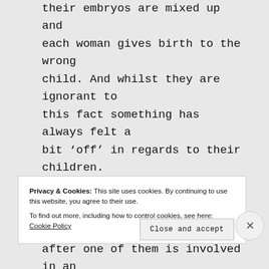their embryos are mixed up and each woman gives birth to the wrong child. And whilst they are ignorant to this fact something has always felt a bit 'off' in regards to their children.

The women only discover the devastating error three years later, after one of them is involved in an accident. To complicate things further...
Privacy & Cookies: This site uses cookies. By continuing to use this website, you agree to their use.
To find out more, including how to control cookies, see here: Cookie Policy